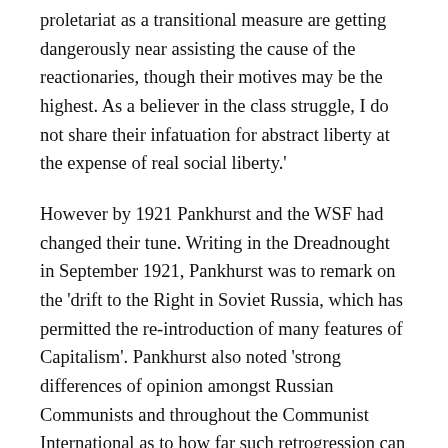proletariat as a transitional measure are getting dangerously near assisting the cause of the reactionaries, though their motives may be the highest. As a believer in the class struggle, I do not share their infatuation for abstract liberty at the expense of real social liberty.'
However by 1921 Pankhurst and the WSF had changed their tune. Writing in the Dreadnought in September 1921, Pankhurst was to remark on the 'drift to the Right in Soviet Russia, which has permitted the re-introduction of many features of Capitalism'. Pankhurst also noted 'strong differences of opinion amongst Russian Communists and throughout the Communist International as to how far such retrogression can be tolerated'.
The following year Pankhurst was arguing that there